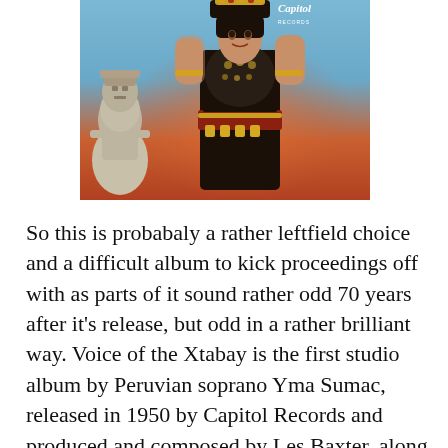[Figure (photo): Album cover or promotional photo of Yma Sumac in elaborate Peruvian/Aztec costume with gold jewelry and headdress, with a stone idol figure on the left and Capitol Records logo in upper right]
So this is probabaly a rather leftfield choice and a difficult album to kick proceedings off with as parts of it sound rather odd 70 years after it's release, but odd in a rather brilliant way. Voice of the Xtabay is the first studio album by Peruvian soprano Yma Sumac, released in 1950 by Capitol Records and produced and composed by Les Baxter, along with Moisés Vivanco (whom she later married I believe, then divorced when he sired twins with another partner then remarried and subsequently divorced) and John Rose. Sumac sings